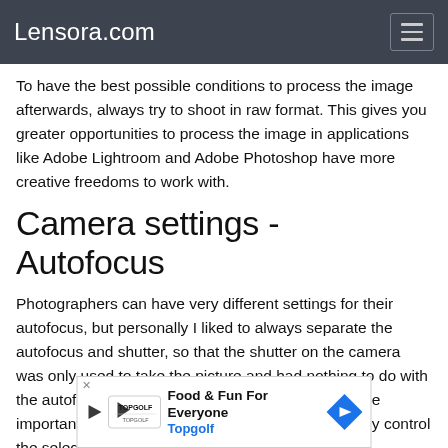Lensora.com
To have the best possible conditions to process the image afterwards, always try to shoot in raw format. This gives you greater opportunities to process the image in applications like Adobe Lightroom and Adobe Photoshop have more creative freedoms to work with.
Camera settings - Autofocus
Photographers can have very different settings for their autofocus, but personally I liked to always separate the autofocus and shutter, so that the shutter on the camera was only used to take the picture and had nothing to do with the autofocus. No matter what settings you prefer the important thing is that you can quickly and accurately control the selection of the autofocus, and perhaps also
[Figure (other): Advertisement banner for Topgolf with tagline 'Food & Fun For Everyone' and a blue diamond-shaped arrow logo]